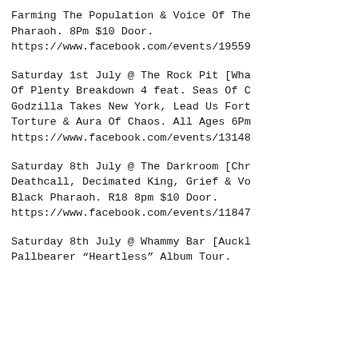Farming The Population & Voice Of The Pharaoh. 8Pm $10 Door.
https://www.facebook.com/events/19559
Saturday 1st July @ The Rock Pit [Wha Of Plenty Breakdown 4 feat. Seas Of C Godzilla Takes New York, Lead Us Fort Torture & Aura Of Chaos. All Ages 6Pm
https://www.facebook.com/events/13148
Saturday 8th July @ The Darkroom [Chr Deathcall, Decimated King, Grief & Vo Black Pharaoh. R18 8pm $10 Door.
https://www.facebook.com/events/11847
Saturday 8th July @ Whammy Bar [Auckl Pallbearer “Heartless” Album Tour.